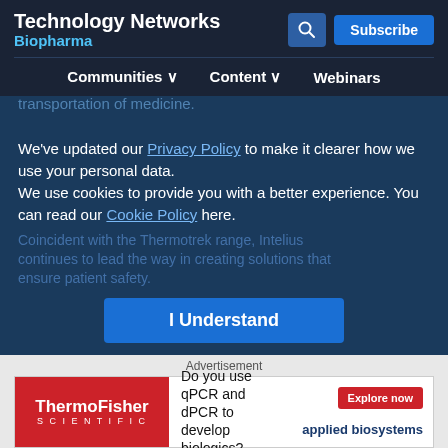Technology Networks Biopharma
resistance to tears or abrasions while providing stain and water resistance.
Each case is ergonomically designed to have a minimum impact on the patient's daily life and enable comfortable transportation of medicine.
We've updated our Privacy Policy to make it clearer how we use your personal data. We use cookies to provide you with a better experience. You can read our Cookie Policy here.
I Understand
Advertisement
[Figure (other): ThermoFisher Scientific advertisement for qPCR and dPCR biologics development with Explore now button and applied biosystems logo]